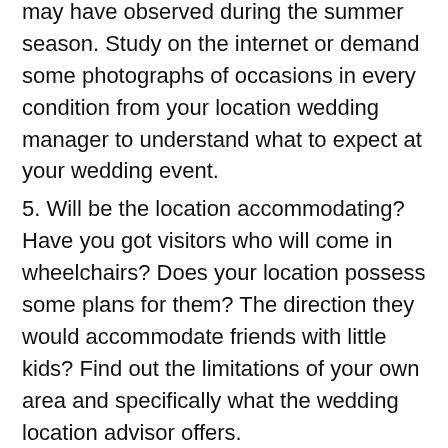may have observed during the summer season. Study on the internet or demand some photographs of occasions in every condition from your location wedding manager to understand what to expect at your wedding event.
5. Will be the location accommodating? Have you got visitors who will come in wheelchairs? Does your location possess some plans for them? The direction they would accommodate friends with little kids? Find out the limitations of your own area and specifically what the wedding location advisor offers.